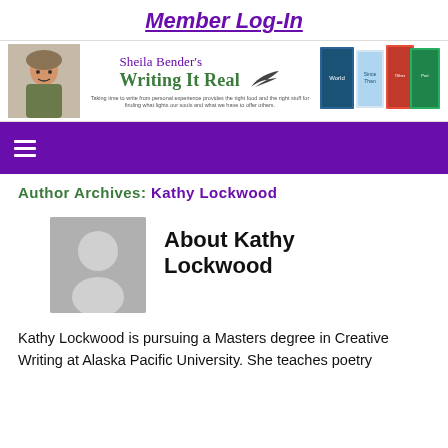Member Log-In
[Figure (screenshot): Sheila Bender's Writing It Real website header banner with photo of woman, site name, quill icon, and book covers]
Author Archives: Kathy Lockwood
[Figure (photo): Generic user avatar placeholder image - gray silhouette of person on gray background]
About Kathy Lockwood
Kathy Lockwood is pursuing a Masters degree in Creative Writing at Alaska Pacific University. She teaches poetry